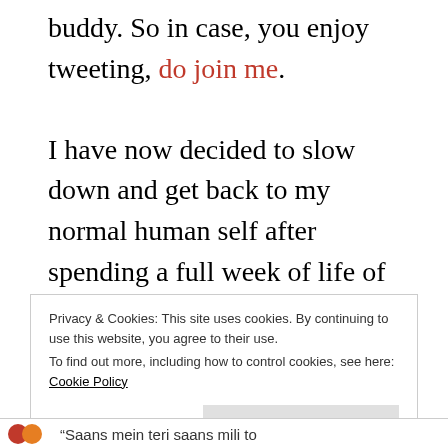buddy. So in case, you enjoy tweeting, do join me.
I have now decided to slow down and get back to my normal human self after spending a full week of life of a bird. So hopefully, I will concentrate more on blogging like always and will not be caught in the quick-sand of micro-blogging for a prize, but you never know when an attractive prize might hypnotize me again.
Privacy & Cookies: This site uses cookies. By continuing to use this website, you agree to their use.
To find out more, including how to control cookies, see here: Cookie Policy
[Close and accept]
“Saans mein teri saans mili to